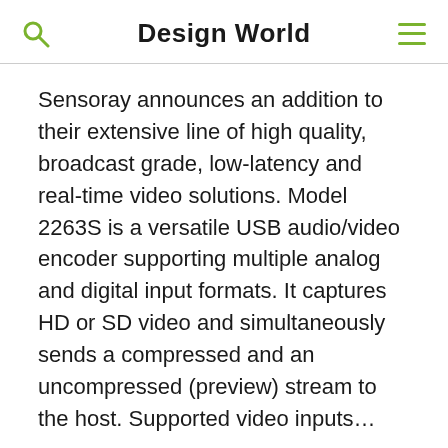Design World
Sensoray announces an addition to their extensive line of high quality, broadcast grade, low-latency and real-time video solutions. Model 2263S is a versatile USB audio/video encoder supporting multiple analog and digital input formats. It captures HD or SD video and simultaneously sends a compressed and an uncompressed (preview) stream to the host. Supported video inputs…